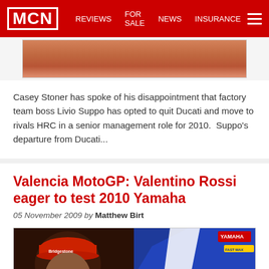MCN | REVIEWS | FOR SALE | NEWS | INSURANCE
[Figure (photo): Partial photo showing a person in red/orange clothing - top portion of a card]
Casey Stoner has spoke of his disappointment that factory team boss Livio Suppo has opted to quit Ducati and move to rivals HRC in a senior management role for 2010.  Suppo's departure from Ducati...
Valencia MotoGP: Valentino Rossi eager to test 2010 Yamaha
05 November 2009 by Matthew Birt
[Figure (photo): Photo of Valentino Rossi wearing a Bridgestone cap and red jacket, sitting next to the Yamaha number 46 motorcycle fairing]